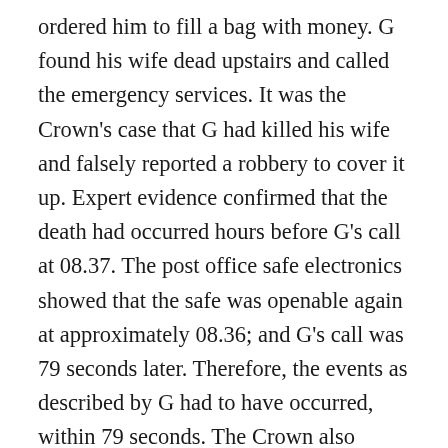ordered him to fill a bag with money. G found his wife dead upstairs and called the emergency services. It was the Crown's case that G had killed his wife and falsely reported a robbery to cover it up. Expert evidence confirmed that the death had occurred hours before G's call at 08.37. The post office safe electronics showed that the safe was openable again at approximately 08.36; and G's call was 79 seconds later. Therefore, the events as described by G had to have occurred, within 79 seconds. The Crown also alleged that G and his wife were in financial difficulties; there were irregularities in the post office accounting records which went back to 2009; the absence of money in the safe was because of theft over a period of time by G; the overnight cash declarations were significantly higher than the post office head quarters computerised model suggested they should be; even though there were requests for